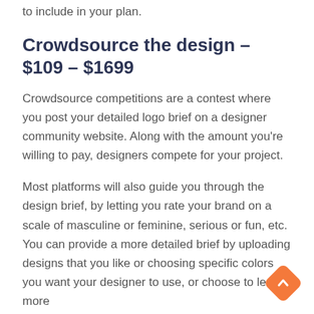to include in your plan.
Crowdsource the design – $109 – $1699
Crowdsource competitions are a contest where you post your detailed logo brief on a designer community website. Along with the amount you're willing to pay, designers compete for your project.
Most platforms will also guide you through the design brief, by letting you rate your brand on a scale of masculine or feminine, serious or fun, etc. You can provide a more detailed brief by uploading designs that you like or choosing specific colors you want your designer to use, or choose to leave more